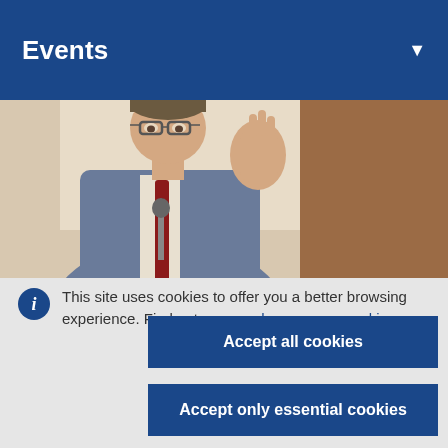Events
[Figure (photo): A man in a blue suit and red tie wearing glasses, speaking at a microphone, gesturing with his hand.]
This site uses cookies to offer you a better browsing experience. Find out more on how we use cookies.
Accept all cookies
Accept only essential cookies